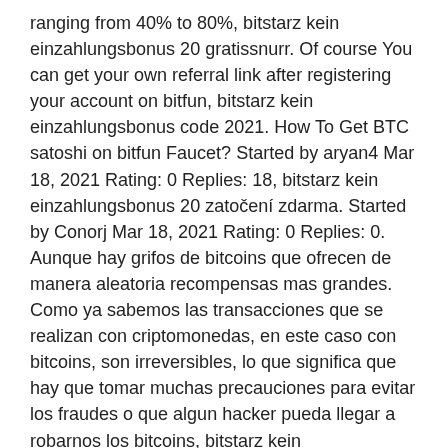ranging from 40% to 80%, bitstarz kein einzahlungsbonus 20 gratissnurr. Of course You can get your own referral link after registering your account on bitfun, bitstarz kein einzahlungsbonus code 2021. How To Get BTC satoshi on bitfun Faucet? Started by aryan4 Mar 18, 2021 Rating: 0 Replies: 18, bitstarz kein einzahlungsbonus 20 zatočení zdarma. Started by Conorj Mar 18, 2021 Rating: 0 Replies: 0. Aunque hay grifos de bitcoins que ofrecen de manera aleatoria recompensas mas grandes. Como ya sabemos las transacciones que se realizan con criptomonedas, en este caso con bitcoins, son irreversibles, lo que significa que hay que tomar muchas precauciones para evitar los fraudes o que algun hacker pueda llegar a robarnos los bitcoins, bitstarz kein einzahlungsbonus 20 gratissnurr. FaucetHub is not related to us, and was shut down in December 2019, bitstarz kein